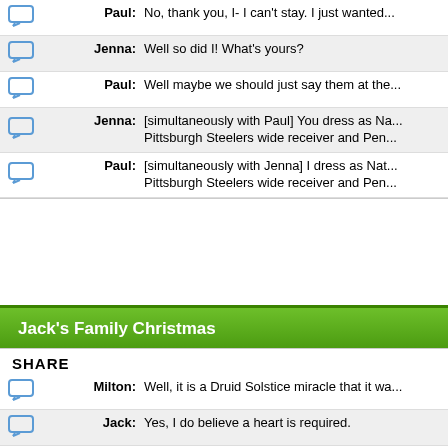| icon | speaker | dialogue |
| --- | --- | --- |
| [icon] | Paul: | No, thank you, I- I can't stay. I just wanted... |
| [icon] | Jenna: | Well so did I! What's yours? |
| [icon] | Paul: | Well maybe we should just say them at the... |
| [icon] | Jenna: | [simultaneously with Paul] You dress as Na... Pittsburgh Steelers wide receiver and Pen... |
| [icon] | Paul: | [simultaneously with Jenna] I dress as Nat... Pittsburgh Steelers wide receiver and Pen... |
Jack's Family Christmas
SHARE
| icon | speaker | dialogue |
| --- | --- | --- |
| [icon] | Milton: | Well, it is a Druid Solstice miracle that it wa... |
| [icon] | Jack: | Yes, I do believe a heart is required. |
| [icon] | Avery: | That is enough, Jack. What happened toni... being honest with each other. So from now... |
| [icon] | Liz: | Okay, I'll go first. I have a crush on The Me... |
| [icon] | Jack: | This is family only, Lemon. Dammit. |
| [icon] | Avery: | There is one more secret Jack and I have... Caribbean over New Year's, but now we w... |
| [icon] | Colleen: | Oh, how wonderful! |
| [icon] | Liz: | You know what I learned tonight? As hard... well be with your own family. I'm going to g... kinda to try to prove that she's as her b... |